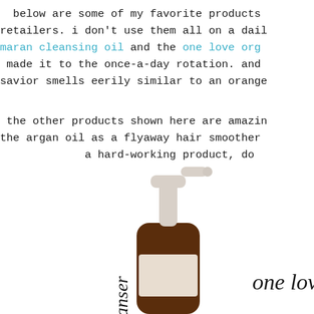below are some of my favorite products retailers. i don't use them all on a dail maran cleansing oil and the one love org made it to the once-a-day rotation. and savior smells eerily similar to an orange the other products shown here are amazin the argan oil as a flyaway hair smoother a hard-working product, do
[Figure (photo): A pump bottle of cleanser (amber/brown bottle with white pump dispenser) with cursive text 'anser' on the left side and partial cursive text 'one love' visible on the right side.]